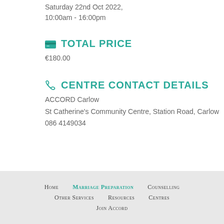Saturday 22nd Oct 2022, 10:00am - 16:00pm
TOTAL PRICE
€180.00
CENTRE CONTACT DETAILS
ACCORD Carlow
St Catherine's Community Centre, Station Road, Carlow
086 4149034
Home   Marriage Preparation   Counselling   Other Services   Resources   Centres   Join Accord